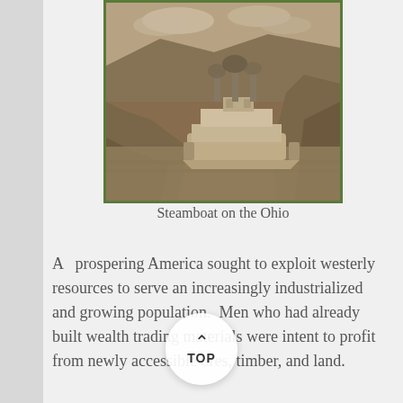[Figure (photo): Sepia-toned historical photograph of a steamboat navigating the Ohio River through rocky canyon walls, with smoke rising from the smokestack. Framed with a green border.]
Steamboat on the Ohio
A  prospering America sought to exploit westerly resources to serve an increasingly industrialized and growing population.  Men who had already built wealth trading materials were intent to profit from newly accessible ores, timber, and land.